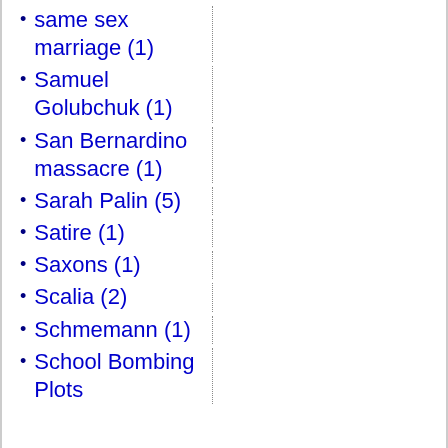same sex marriage (1)
Samuel Golubchuk (1)
San Bernardino massacre (1)
Sarah Palin (5)
Satire (1)
Saxons (1)
Scalia (2)
Schmemann (1)
School Bombing Plots